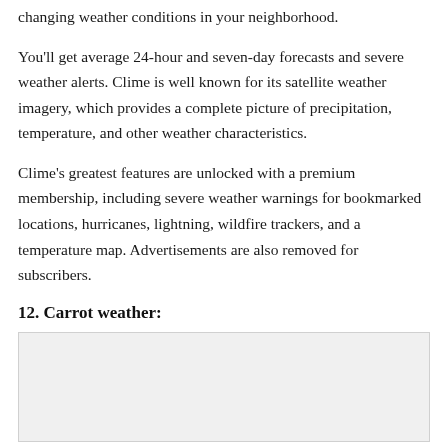changing weather conditions in your neighborhood.
You'll get average 24-hour and seven-day forecasts and severe weather alerts. Clime is well known for its satellite weather imagery, which provides a complete picture of precipitation, temperature, and other weather characteristics.
Clime's greatest features are unlocked with a premium membership, including severe weather warnings for bookmarked locations, hurricanes, lightning, wildfire trackers, and a temperature map. Advertisements are also removed for subscribers.
12. Carrot weather:
[Figure (photo): Image placeholder box with light gray background]